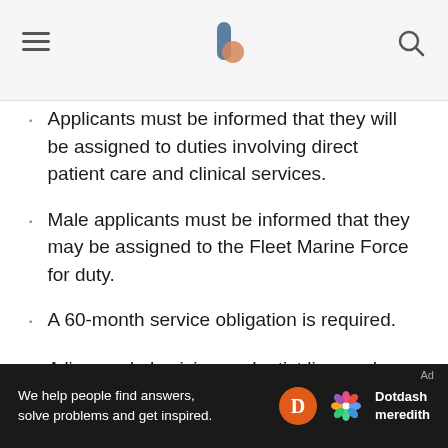Applicants must be informed that they will be assigned to duties involving direct patient care and clinical services.
Male applicants must be informed that they may be assigned to the Fleet Marine Force for duty.
A 60-month service obligation is required.
A licensed physician or dentist licensed or graduate of the medical or dental school in any country is not eligible for this rating.
No history of drug abuse or commission of offenses involving alcohol, narcotics, or other controlled substances with the exception of the
Ad | We help people find answers, solve problems and get inspired. Dotdash meredith